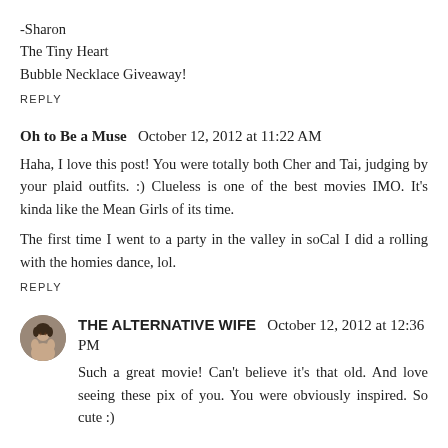-Sharon
The Tiny Heart
Bubble Necklace Giveaway!
REPLY
Oh to Be a Muse  October 12, 2012 at 11:22 AM
Haha, I love this post! You were totally both Cher and Tai, judging by your plaid outfits. :) Clueless is one of the best movies IMO. It's kinda like the Mean Girls of its time.
The first time I went to a party in the valley in soCal I did a rolling with the homies dance, lol.
REPLY
THE ALTERNATIVE WIFE  October 12, 2012 at 12:36 PM
Such a great movie! Can't believe it's that old. And love seeing these pix of you. You were obviously inspired. So cute :)